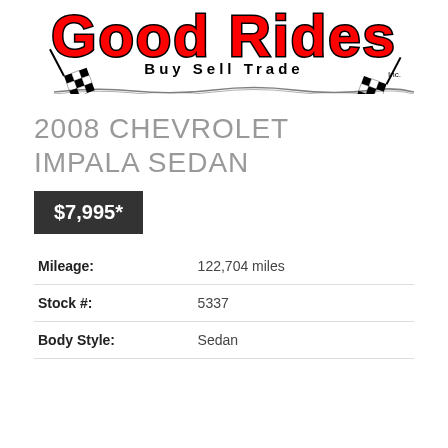[Figure (logo): Good Rides Buy Sell Trade Inc. logo with red bold lettering and checkered racing flags]
2008 CHEVROLET IMPALA SEDAN
$7,995*
| Mileage: | 122,704 miles |
| Stock #: | 5337 |
| Body Style: | Sedan |